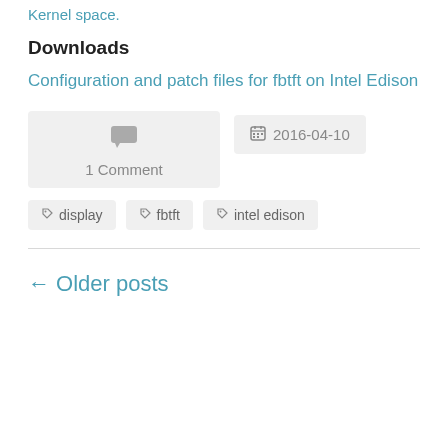Kernel space.
Downloads
Configuration and patch files for fbtft on Intel Edison
1 Comment
2016-04-10
display
fbtft
intel edison
← Older posts